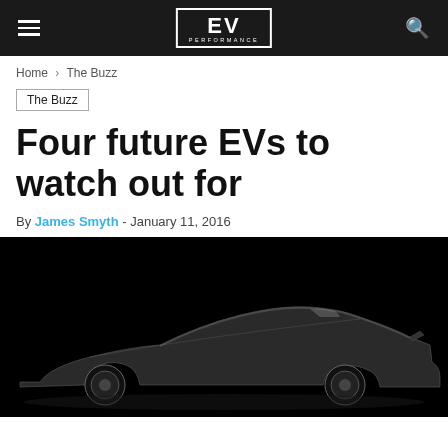EV PERFORMANCE
Home > The Buzz
The Buzz
Four future EVs to watch out for
By James Smyth - January 11, 2016
[Figure (photo): Dark silhouette of a sleek concept electric car on a black background, viewed from the side.]